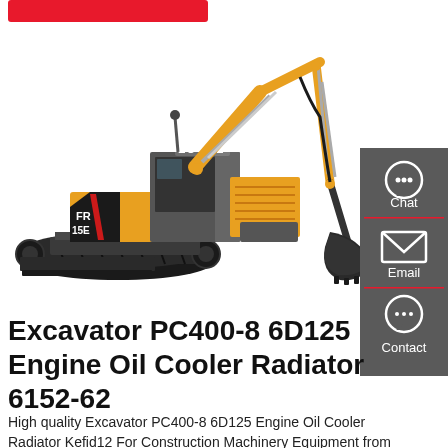[Figure (screenshot): Red button/banner at the top of the product page]
[Figure (photo): LOVOL branded yellow excavator (model FR/15E series) with black tracks, extended boom arm with bucket, and blade attachment, on white background]
[Figure (infographic): Dark grey sidebar with Chat (headset icon), Email (envelope icon), and Contact (speech bubble icon) options, each separated by a red line]
Excavator PC400-8 6D125 Engine Oil Cooler Radiator 6152-62
High quality Excavator PC400-8 6D125 Engine Oil Cooler Radiator Kefid12 For Construction Machinery Equipment from